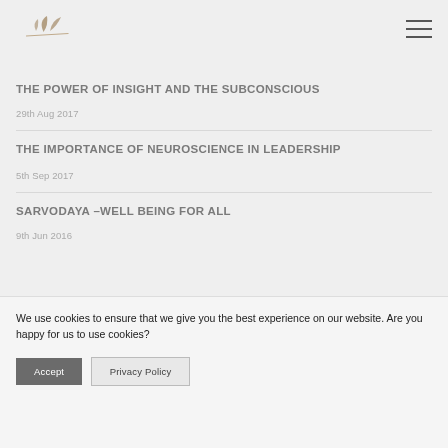[Logo and navigation menu]
THE POWER OF INSIGHT AND THE SUBCONSCIOUS
29th Aug 2017
THE IMPORTANCE OF NEUROSCIENCE IN LEADERSHIP
5th Sep 2017
SARVODAYA –WELL BEING FOR ALL
9th Jun 2016
We use cookies to ensure that we give you the best experience on our website. Are you happy for us to use cookies?